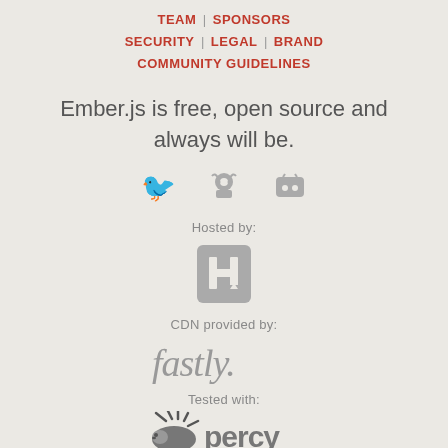TEAM | SPONSORS
SECURITY | LEGAL | BRAND
COMMUNITY GUIDELINES
Ember.js is free, open source and always will be.
[Figure (other): Social media icons: Twitter bird, GitHub octocat, Discord logo]
Hosted by:
[Figure (logo): Heroku logo — stylized H in a rounded square]
CDN provided by:
[Figure (logo): Fastly logo in gray text]
Tested with:
[Figure (logo): Percy logo — hedgehog icon and 'percy' text in gray]